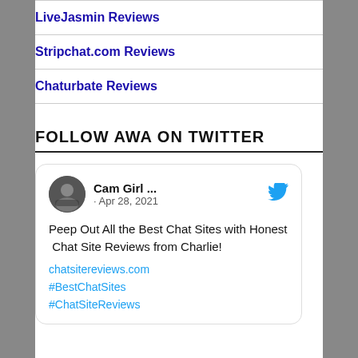LiveJasmin Reviews
Stripchat.com Reviews
Chaturbate Reviews
FOLLOW AWA ON TWITTER
[Figure (screenshot): Embedded tweet card from 'Cam Girl ...' posted Apr 28, 2021, with Twitter bird icon, avatar photo, tweet text 'Peep Out All the Best Chat Sites with Honest  Chat Site Reviews from Charlie!' and links: chatsitereviews.com, #BestChatSites, #ChatSiteReviews]